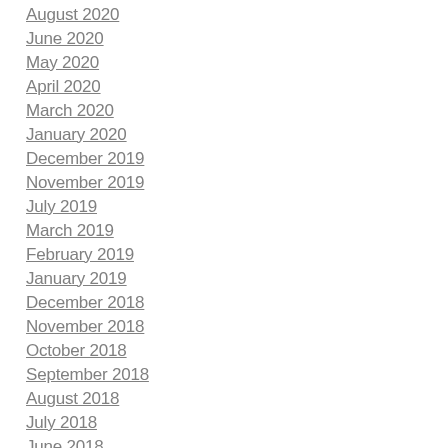August 2020
June 2020
May 2020
April 2020
March 2020
January 2020
December 2019
November 2019
July 2019
March 2019
February 2019
January 2019
December 2018
November 2018
October 2018
September 2018
August 2018
July 2018
June 2018